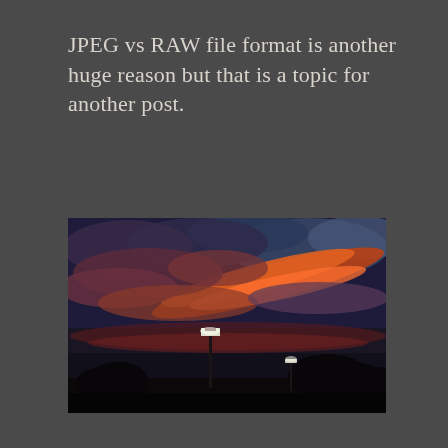JPEG vs RAW file format is another huge reason but that is a topic for another post.
[Figure (photo): A dramatic sunset sky with vivid orange and pink clouds against a dark blue sky. Silhouettes of trees and a street lamp are visible at the bottom of the image.]